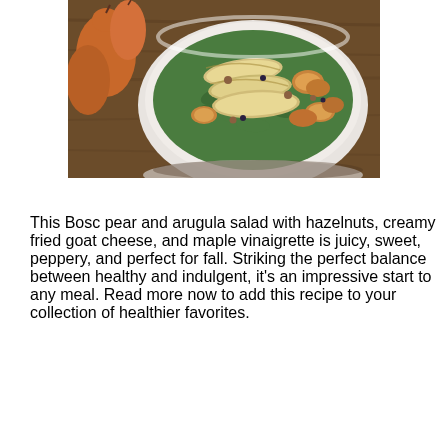[Figure (photo): A white bowl filled with arugula salad topped with sliced Bosc pears, fried goat cheese, and hazelnuts. Whole pears are visible in the upper left background on a wooden surface.]
This Bosc pear and arugula salad with hazelnuts, creamy fried goat cheese, and maple vinaigrette is juicy, sweet, peppery, and perfect for fall. Striking the perfect balance between healthy and indulgent, it's an impressive start to any meal. Read more now to add this recipe to your collection of healthier favorites.